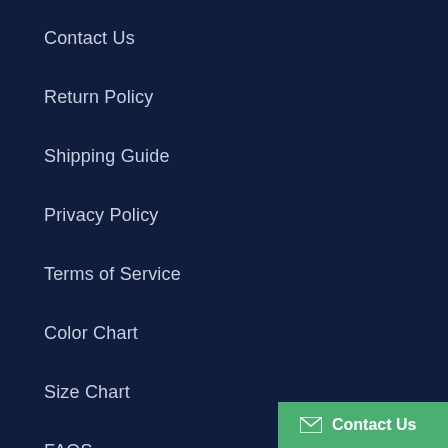Contact Us
Return Policy
Shipping Guide
Privacy Policy
Terms of Service
Color Chart
Size Chart
FAQS
How To Send Special instructions for seller
Contact Us